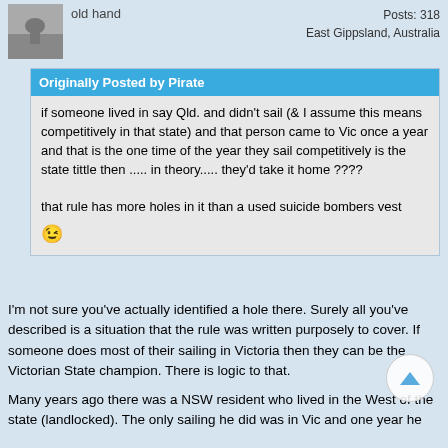old hand
Posts: 318
East Gippsland, Australia
Originally Posted by Pirate
if someone lived in say Qld. and didn't sail (& I assume this means competitively in that state) and that person came to Vic once a year and that is the one time of the year they sail competitively is the state tittle then ..... in theory..... they'd take it home ????

that rule has more holes in it than a used suicide bombers vest
😉
I'm not sure you've actually identified a hole there. Surely all you've described is a situation that the rule was written purposely to cover. If someone does most of their sailing in Victoria then they can be the Victorian State champion. There is logic to that.
Many years ago there was a NSW resident who lived in the West of the state (landlocked). The only sailing he did was in Vic and one year he won the Mk2 title in Vic. That caused controversy but the situation the...